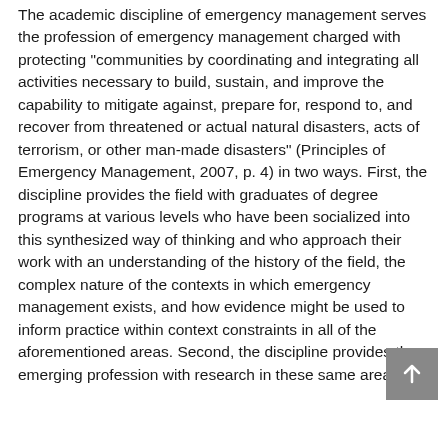The academic discipline of emergency management serves the profession of emergency management charged with protecting "communities by coordinating and integrating all activities necessary to build, sustain, and improve the capability to mitigate against, prepare for, respond to, and recover from threatened or actual natural disasters, acts of terrorism, or other man-made disasters" (Principles of Emergency Management, 2007, p. 4) in two ways. First, the discipline provides the field with graduates of degree programs at various levels who have been socialized into this synthesized way of thinking and who approach their work with an understanding of the history of the field, the complex nature of the contexts in which emergency management exists, and how evidence might be used to inform practice within context constraints in all of the aforementioned areas. Second, the discipline provides the emerging profession with research in these same areas.